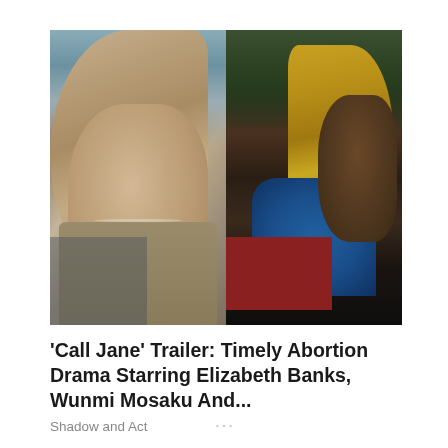[Figure (photo): Two side-by-side film stills. Left: a white woman with long blonde hair, pearl necklace, and olive/tan jacket, looking distressed, with a blue sky background. Right: a Black woman with gold braids/locs wearing a teal top, in what appears to be a car scene with a red vehicle visible.]
'Call Jane' Trailer: Timely Abortion Drama Starring Elizabeth Banks, Wunmi Mosaku And...
Shadow and Act